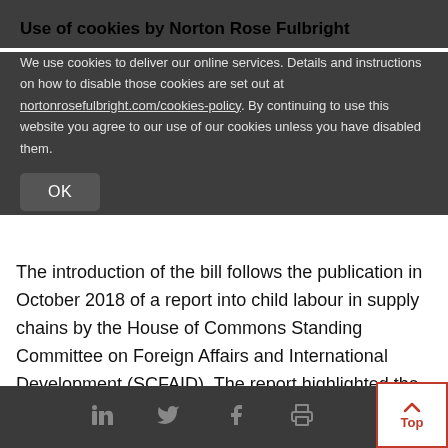Use of cookies by Norton Rose Fulbright
We use cookies to deliver our online services. Details and instructions on how to disable those cookies are set out at nortonrosefulbright.com/cookies-policy. By continuing to use this website you agree to our use of our cookies unless you have disabled them.
OK
The introduction of the bill follows the publication in October 2018 of a report into child labour in supply chains by the House of Commons Standing Committee on Foreign Affairs and International Development (SCFAID). The report highlighted the fact that child labour remains widespread globally, with one in 10 children engaged in child labour often at the lowest tiers of global supply chains.
Social icons and Top button